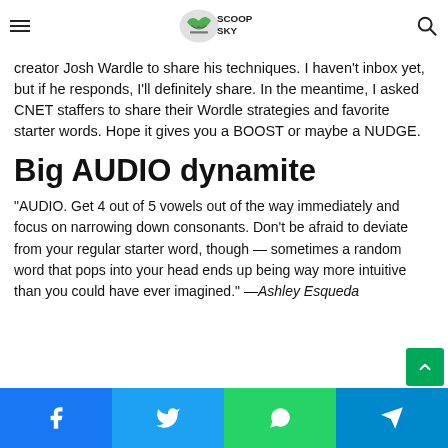Scoop Sky
creator Josh Wardle to share his techniques. I haven't inbox yet, but if he responds, I'll definitely share. In the meantime, I asked CNET staffers to share their Wordle strategies and favorite starter words. Hope it gives you a BOOST or maybe a NUDGE.
Big AUDIO dynamite
“AUDIO. Get 4 out of 5 vowels out of the way immediately and focus on narrowing down consonants. Don’t be afraid to deviate from your regular starter word, though — sometimes a random word that pops into your head ends up being way more intuitive than you could have ever imagined.” —Ashley Esqueda